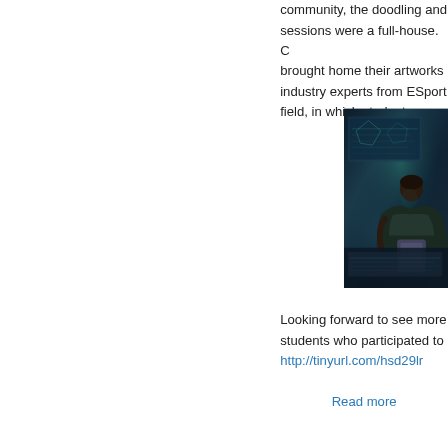community, the doodling and sessions were a full-house. C brought home their artworks industry experts from ESport field, in which students were
[Figure (photo): A person seen from behind sitting in front of large digital screens showing futuristic data visualizations in a dark room.]
Looking forward to see more students who participated to http://tinyurl.com/hsd29lr
Read more